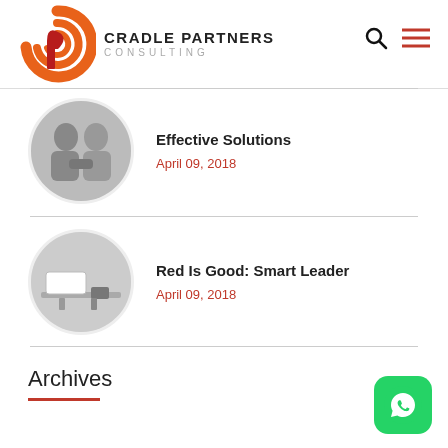[Figure (logo): Cradle Partners Consulting logo with orange and red spiral G icon and company name]
Effective Solutions
April 09, 2018
Red Is Good: Smart Leader
April 09, 2018
Archives
[Figure (logo): WhatsApp green icon button]